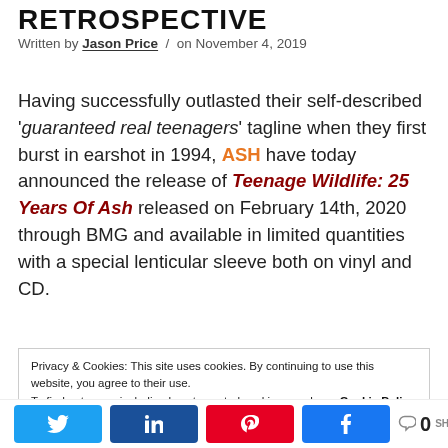RETROSPECTIVE
Written by Jason Price / on November 4, 2019
Having successfully outlasted their self-described 'guaranteed real teenagers' tagline when they first burst in earshot in 1994, ASH have today announced the release of Teenage Wildlife: 25 Years Of Ash released on February 14th, 2020 through BMG and available in limited quantities with a special lenticular sleeve both on vinyl and CD.
Privacy & Cookies: This site uses cookies. By continuing to use this website, you agree to their use. To find out more, including how to control cookies, see here: Cookie Policy